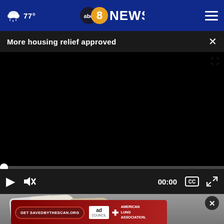77° abc8NEWS navigation bar
More housing relief approved
[Figure (screenshot): Black video player area, paused at 00:00, with play button, mute button, timestamp 00:00, captions icon, and fullscreen icon in dark controls bar. A thin progress bar with white dot at the start sits above the controls.]
[Figure (photo): Partial photo of shoes/sneakers on a grey surface, partially visible below the video player.]
[Figure (other): American Lung Association advertisement banner with 'Get SAVEDBYTHESCAN.ORG' call-to-action button on a dark red background, with Ad Council and American Lung Association logos.]